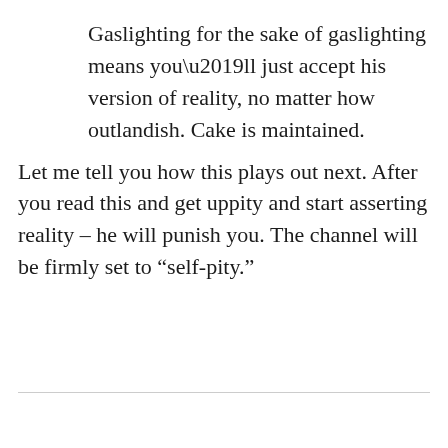Gaslighting for the sake of gaslighting means you’ll just accept his version of reality, no matter how outlandish. Cake is maintained.
Let me tell you how this plays out next. After you read this and get uppity and start asserting reality – he will punish you. The channel will be firmly set to “self-pity.”